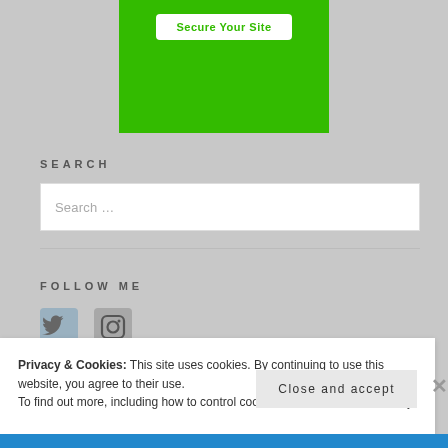[Figure (other): Green banner with 'Secure Your Site' white button]
SEARCH
Search …
FOLLOW ME
[Figure (illustration): Twitter and Instagram social media icons]
Privacy & Cookies: This site uses cookies. By continuing to use this website, you agree to their use.
To find out more, including how to control cookies, see here: Cookie Policy
Close and accept